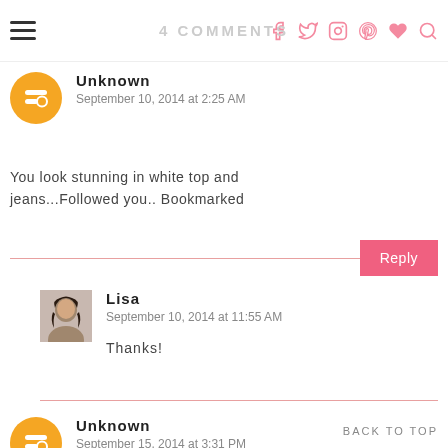4 COMMENTS
Unknown
September 10, 2014 at 2:25 AM
You look stunning in white top and jeans...Followed you.. Bookmarked
Reply
Lisa
September 10, 2014 at 11:55 AM
Thanks!
Unknown
September 15, 2014 at 3:31 PM
BACK TO TOP